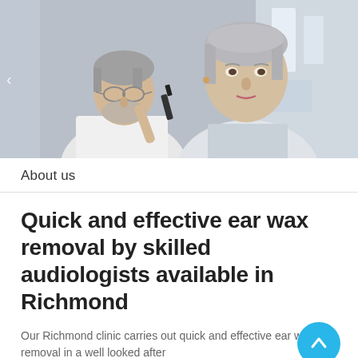[Figure (photo): A male doctor/audiologist with grey hair and glasses using an otoscope to examine the ear of an elderly female patient with short grey hair, in a clinical setting.]
About us
Quick and effective ear wax removal by skilled audiologists available in Richmond
Our Richmond clinic carries out quick and effective ear wax removal in a well looked after